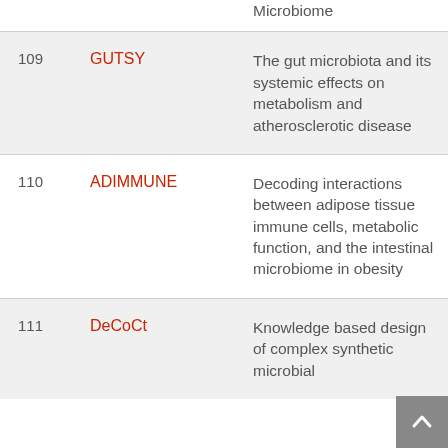| # | Name | Description |
| --- | --- | --- |
|  |  | Microbiome |
| 109 | GUTSY | The gut microbiota and its systemic effects on metabolism and atherosclerotic disease |
| 110 | ADIMMUNE | Decoding interactions between adipose tissue immune cells, metabolic function, and the intestinal microbiome in obesity |
| 111 | DeCoCt | Knowledge based design of complex synthetic microbial |